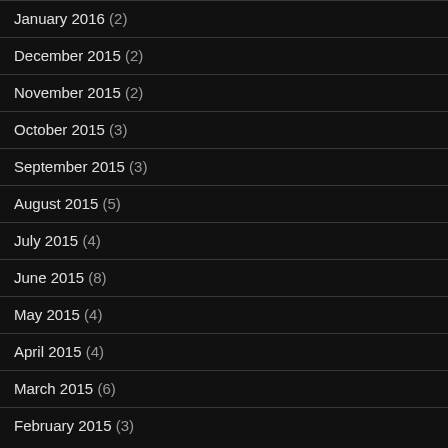January 2016 (2)
December 2015 (2)
November 2015 (2)
October 2015 (3)
September 2015 (3)
August 2015 (5)
July 2015 (4)
June 2015 (8)
May 2015 (4)
April 2015 (4)
March 2015 (6)
February 2015 (3)